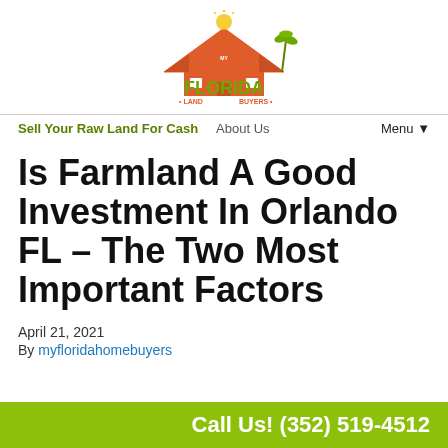[Figure (logo): My Florida Land Buyers logo with house roof graphic, sun, palm tree, and green/orange text]
Sell Your Raw Land For Cash   About Us   Menu▼
Is Farmland A Good Investment In Orlando FL – The Two Most Important Factors
April 21, 2021
By myfloridahomebuyers
Call Us! (352) 519-4512